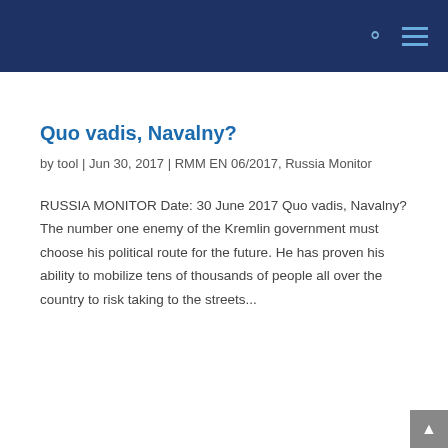Quo vadis, Navalny?
by tool | Jun 30, 2017 | RMM EN 06/2017, Russia Monitor
RUSSIA MONITOR Date: 30 June 2017 Quo vadis, Navalny? The number one enemy of the Kremlin government must choose his political route for the future. He has proven his ability to mobilize tens of thousands of people all over the country to risk taking to the streets...